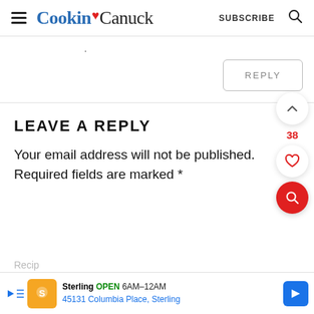Cookin Canuck | SUBSCRIBE
.
REPLY
LEAVE A REPLY
Your email address will not be published. Required fields are marked *
38
Sterling OPEN 6AM–12AM 45131 Columbia Place, Sterling
Recip